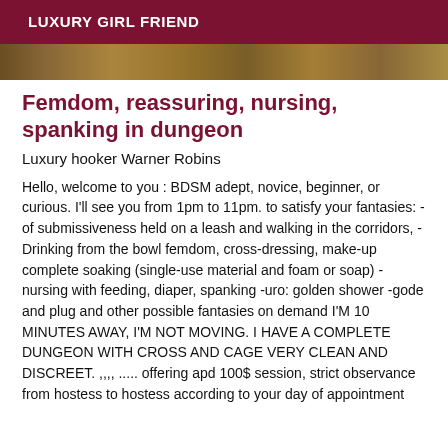LUXURY GIRL FRIEND
[Figure (photo): Photo strip of a person with dark hair, partially visible as a narrow horizontal band]
Femdom, reassuring, nursing, spanking in dungeon
Luxury hooker Warner Robins
Hello, welcome to you : BDSM adept, novice, beginner, or curious. I'll see you from 1pm to 11pm. to satisfy your fantasies: - of submissiveness held on a leash and walking in the corridors, -Drinking from the bowl femdom, cross-dressing, make-up complete soaking (single-use material and foam or soap) -nursing with feeding, diaper, spanking -uro: golden shower -gode and plug and other possible fantasies on demand I'M 10 MINUTES AWAY, I'M NOT MOVING. I HAVE A COMPLETE DUNGEON WITH CROSS AND CAGE VERY CLEAN AND DISCREET. ,,,, ..... offering apd 100$ session, strict observance from hostess to hostess according to your day of appointment